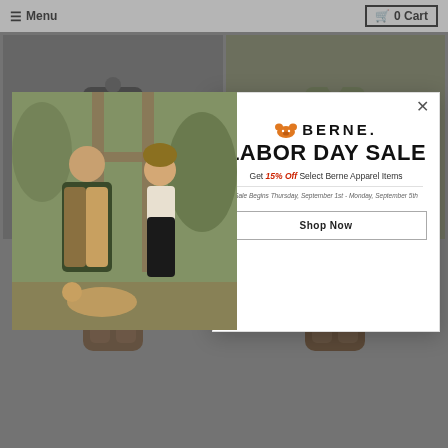Menu | 0 Cart
[Figure (photo): Background product grid showing four apparel/clothing product photos in a 2x2 grid, partially obscured by modal overlay]
[Figure (photo): Modal popup photo: Two people standing outdoors near a wooden structure. Man in olive vest and brown pants, woman in overalls with a dog at their feet.]
BERNE
LABOR DAY SALE
Get 15% Off Select Berne Apparel Items
Sale Begins Thursday, September 1st - Monday, September 5th
Shop Now